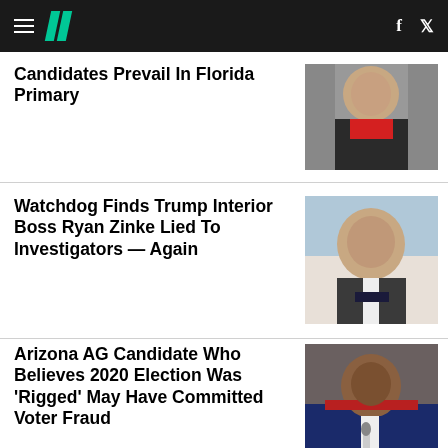HuffPost navigation header with hamburger menu, logo, Facebook and Twitter icons
Candidates Prevail In Florida Primary
[Figure (photo): Close-up photo of a politician speaking, wearing a suit with red tie]
Watchdog Finds Trump Interior Boss Ryan Zinke Lied To Investigators — Again
[Figure (photo): Close-up photo of Ryan Zinke, a middle-aged man in a suit with dark tie, against blue background]
Arizona AG Candidate Who Believes 2020 Election Was ‘Rigged’ May Have Committed Voter Fraud
[Figure (photo): Photo of a young man in a suit holding a microphone, with American flag in background]